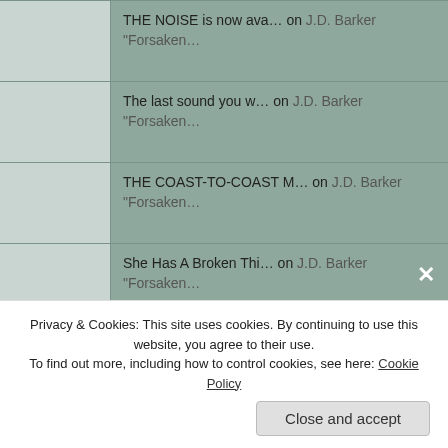THE NOISE is now ava... on J.D. Barker "Forsaken...
The last sound you w... on J.D. Barker "Forsaken...
THE COAST-TO-COAST M... on J.D. Barker "Forsaken...
She Has A Broken Thi... on J.D. Barker "Forsaken...
#TheJackintheGreen r... on Frazer Lee 'The Jack in...
Archives
May 2019
Privacy & Cookies: This site uses cookies. By continuing to use this website, you agree to their use.
To find out more, including how to control cookies, see here: Cookie Policy
Close and accept